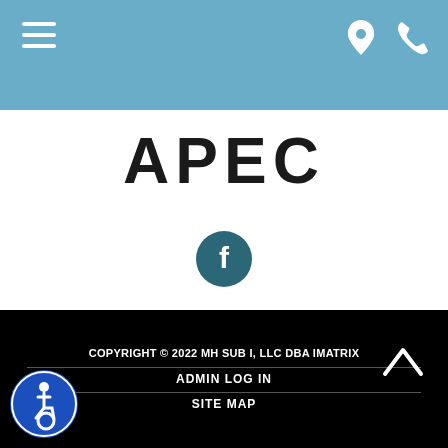[Figure (screenshot): Website header bar with hamburger menu icon on the left and location pin and phone icons on the right, on a steel blue background]
APEC
[Figure (logo): Facebook social media icon - circular dark teal button with white F logo]
COPYRIGHT © 2022 MH SUB I, LLC DBA IMATRIX | ADMIN LOG IN | SITE MAP
[Figure (illustration): Accessibility icon - blue circular badge with wheelchair user symbol]